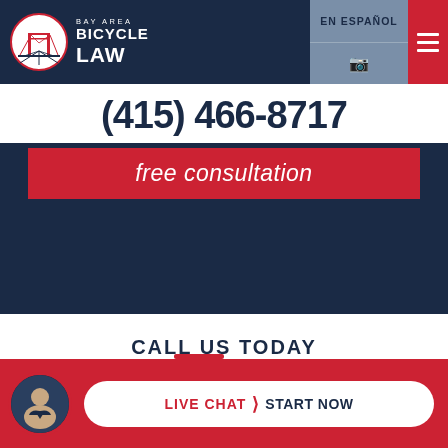[Figure (logo): Bay Area Bicycle Law logo with Golden Gate Bridge icon in circular frame, red and white, with text BAY AREA BICYCLE LAW in white on dark navy background]
EN ESPAÑOL
(415) 466-8717
free consultation
CALL US TODAY
LIVE CHAT › START NOW